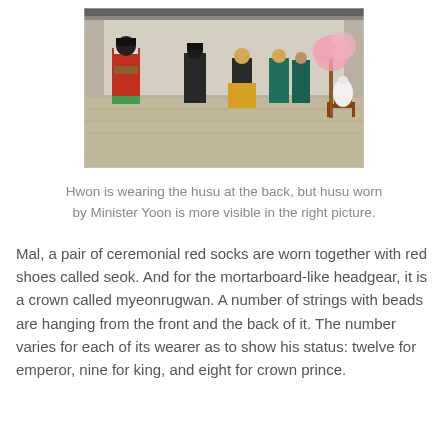[Figure (photo): A scene showing people in traditional Korean hanbok costumes in a courtyard setting. A figure in a red robe with decorative accessories stands on the left, others in colorful traditional dress including yellow and teal hanbok in the background, with cherry blossoms and a white vase visible on the right.]
Hwon is wearing the husu at the back, but husu worn by Minister Yoon is more visible in the right picture.
Mal, a pair of ceremonial red socks are worn together with red shoes called seok. And for the mortarboard-like headgear, it is a crown called myeonrugwan. A number of strings with beads are hanging from the front and the back of it. The number varies for each of its wearer as to show his status: twelve for emperor, nine for king, and eight for crown prince.